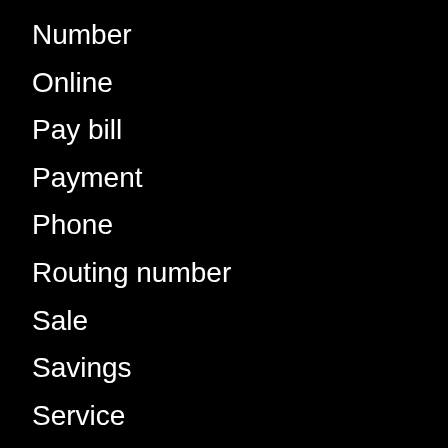Number
Online
Pay bill
Payment
Phone
Routing number
Sale
Savings
Service
State